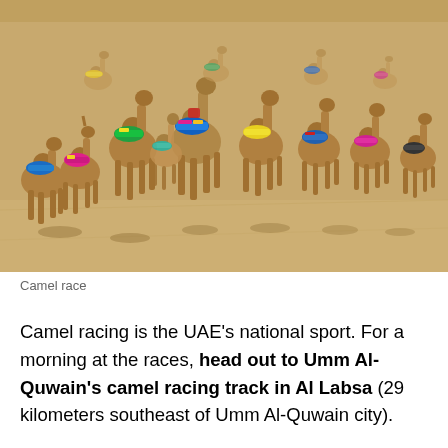[Figure (photo): Aerial/overhead view of a group of camels wearing colorful racing saddles/jockey pads in bright pinks, blues, greens, and yellows, running along a sandy desert track. The camels are seen from behind, with their shadows cast on the sandy ground.]
Camel race
Camel racing is the UAE's national sport. For a morning at the races, head out to Umm Al-Quwain's camel racing track in Al Labsa (29 kilometers southeast of Umm Al-Quwain city).
Races take place every...